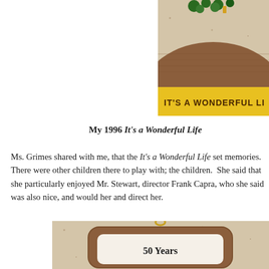[Figure (photo): Top portion of an 'It's a Wonderful Life' collectible ornament/plate with yellow rim, showing wooden surface and text 'IT'S A WONDERFUL LI...' on the yellow border, cropped at right edge.]
My 1996 It's a Wonderful Life
Ms. Grimes shared with me, that the It's a Wonderful Life set memories. There were other children there to play with; the children. She said that she particularly enjoyed Mr. Stewart, director Frank Capra, who she said was also nice, and would her and direct her.
[Figure (photo): Bottom portion showing a '50 Years' collectible ornament/plaque with brown rounded rectangular frame on a speckled background, with gold hook at top, and text '50 Years' visible.]